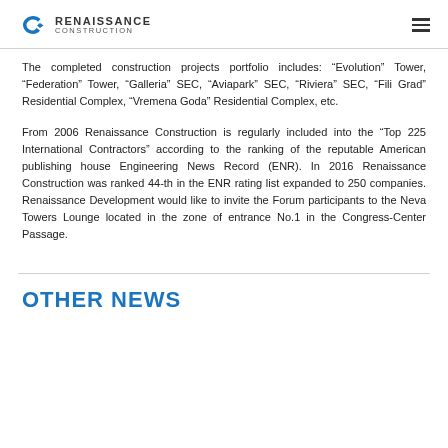RENAISSANCE CONSTRUCTION
The completed construction projects portfolio includes: “Evolution” Tower, “Federation” Tower, “Galleria” SEC, “Aviapark” SEC, “Riviera” SEC, “Fili Grad” Residential Complex, “Vremena Goda” Residential Complex, etc.
From 2006 Renaissance Construction is regularly included into the “Top 225 International Contractors” according to the ranking of the reputable American publishing house Engineering News Record (ENR). In 2016 Renaissance Construction was ranked 44-th in the ENR rating list expanded to 250 companies. Renaissance Development would like to invite the Forum participants to the Neva Towers Lounge located in the zone of entrance No.1 in the Congress-Center Passage.
OTHER NEWS